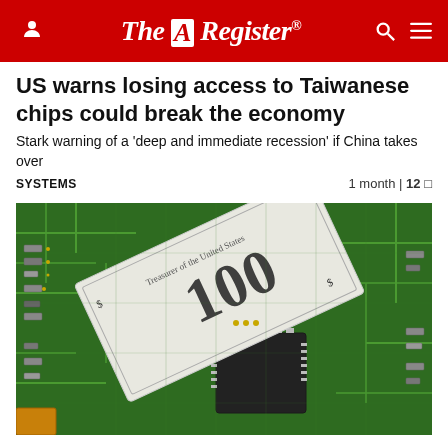The Register
US warns losing access to Taiwanese chips could break the economy
Stark warning of a 'deep and immediate recession' if China takes over
SYSTEMS    1 month | 12
[Figure (photo): Close-up photo of a green circuit board with electronic components and a $100 US dollar bill placed on top]
Foxconn faces fine for unsanctioned Chinese